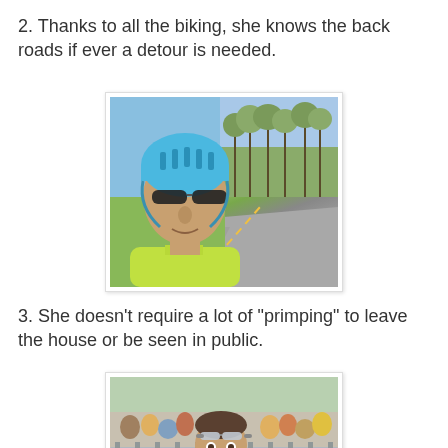2. Thanks to all the biking, she knows the back roads if ever a detour is needed.
[Figure (photo): Person wearing a blue cycling helmet and sunglasses, in a yellow/green cycling jersey, taking a selfie on a road with trees in the background.]
3. She doesn't require a lot of "primping" to leave the house or be seen in public.
[Figure (photo): Person running through a race finish chute with metal barriers, crowd of spectators in background, wearing a white tank top and racing goggles pushed up on forehead.]